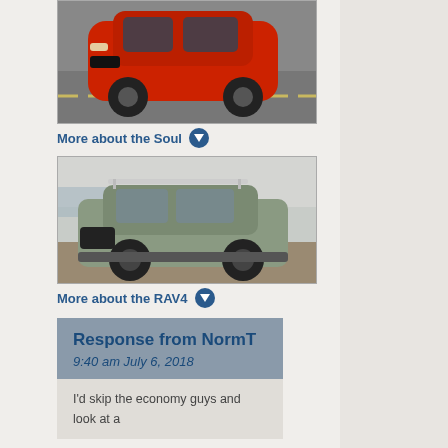[Figure (photo): Red Kia Soul car on a road, aerial/front view]
More about the Soul ▼
[Figure (photo): Gray/green Toyota RAV4 SUV parked near coast on a foggy day]
More about the RAV4 ▼
Response from NormT
9:40 am July 6, 2018
I'd skip the economy guys and look at a